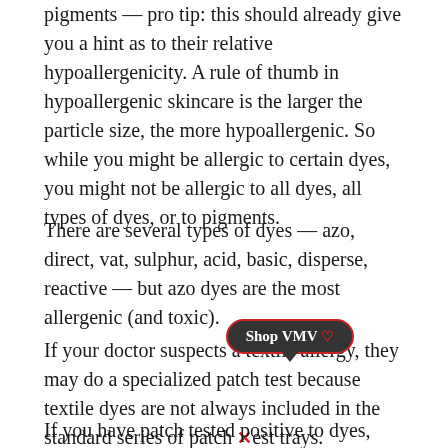pigments — pro tip: this should already give you a hint as to their relative hypoallergenicity. A rule of thumb in hypoallergenic skincare is the larger the particle size, the more hypoallergenic. So while you might be allergic to certain dyes, you might not be allergic to all dyes, all types of dyes, or to pigments.
There are several types of dyes — azo, direct, vat, sulphur, acid, basic, disperse, reactive — but azo dyes are the most allergenic (and toxic).
If your doctor suspects a textile allergy, they may do a specialized patch test because textile dyes are not always included in the standard series of patch test trays.
[Figure (other): Shop VMV promotional bubble/tooltip with a red heart and close X button, dark background, positioned over the text]
If you have patch tested positive to dyes, choose natural